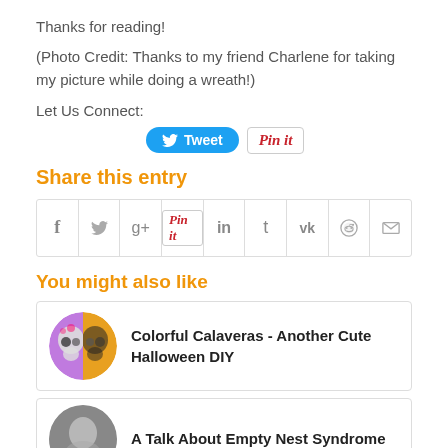Thanks for reading!
(Photo Credit: Thanks to my friend Charlene for taking my picture while doing a wreath!)
Let Us Connect:
[Figure (infographic): Tweet button (blue rounded) and Pin it button (white with red text and border)]
Share this entry
[Figure (infographic): Social sharing icon bar with: Facebook (f), Twitter (bird), Google+ (g+), Pinterest (Pin it), LinkedIn (in), Tumblr (t), VK (vk), Reddit (alien), Email (envelope)]
You might also like
Colorful Calaveras - Another Cute Halloween DIY
A Talk About Empty Nest Syndrome